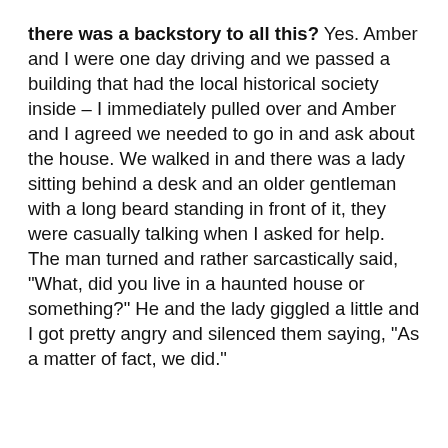there was a backstory to all this?
Yes. Amber and I were one day driving and we passed a building that had the local historical society inside – I immediately pulled over and Amber and I agreed we needed to go in and ask about the house. We walked in and there was a lady sitting behind a desk and an older gentleman with a long beard standing in front of it, they were casually talking when I asked for help. The man turned and rather sarcastically said, "What, did you live in a haunted house or something?" He and the lady giggled a little and I got pretty angry and silenced them saying, "As a matter of fact, we did."